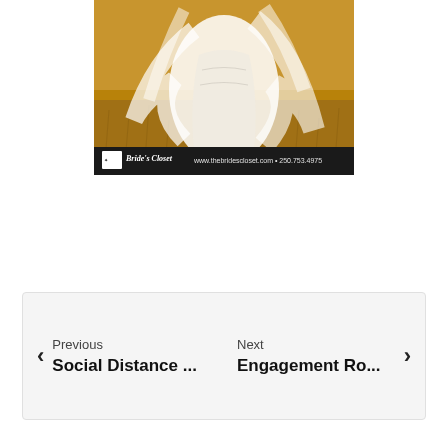[Figure (photo): A bride in a white lace wedding dress and flowing veil in a golden field, with The Bride's Closet advertisement banner at the bottom showing www.thebridescloset.com and 250.753.4975]
Previous
Social Distance ...
Next
Engagement Ro...